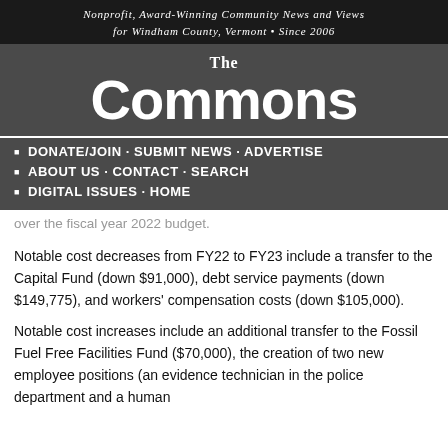Nonprofit, Award-Winning Community News and Views for Windham County, Vermont • Since 2006
[Figure (logo): The Commons newspaper logo — large white text on dark gray background]
DONATE/JOIN · SUBMIT NEWS · ADVERTISE
ABOUT US · CONTACT · SEARCH
DIGITAL ISSUES · HOME
over the fiscal year 2022 budget.
Notable cost decreases from FY22 to FY23 include a transfer to the Capital Fund (down $91,000), debt service payments (down $149,775), and workers' compensation costs (down $105,000).
Notable cost increases include an additional transfer to the Fossil Fuel Free Facilities Fund ($70,000), the creation of two new employee positions (an evidence technician in the police department and a human